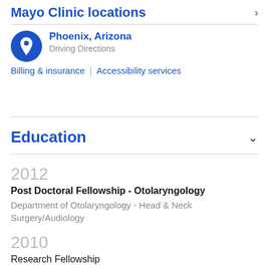Mayo Clinic locations
Phoenix, Arizona
Driving Directions
Billing & insurance | Accessibility services
Education
2012
Post Doctoral Fellowship - Otolaryngology
Department of Otolaryngology - Head & Neck Surgery/Audiology
2010
Research Fellowship